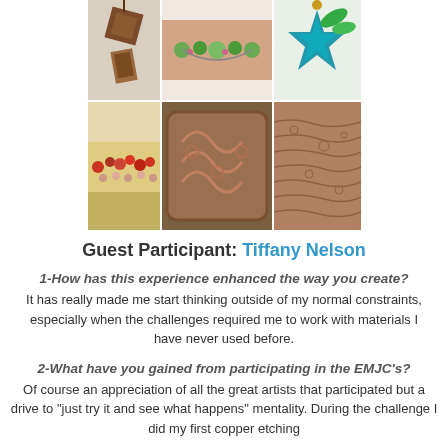[Figure (photo): A 2x3 grid of jewelry and metalwork photos: top row shows chocolate/brown geometric pendant, green beaded necklace on skin, teal star ornament; bottom row shows red/brown beaded bracelet, embossed copper cuff bracelet, copper textured metal sheet]
Guest Participant: Tiffany Nelson
1-How has this experience enhanced the way you create?
It has really made me start thinking outside of my normal constraints, especially when the challenges required me to work with materials I have never used before.
2-What have you gained from participating in the EMJC's?
Of course an appreciation of all the great artists that participated but a drive to "just try it and see what happens" mentality. During the challenge I did my first copper etching...